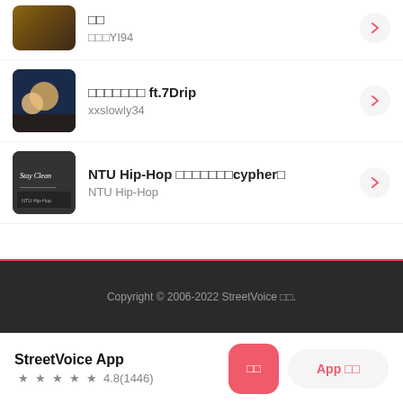□□ / □□□YI94
□□□□□□□ ft.7Drip / xxslowly34
NTU Hip-Hop □□□□□□□cypher□ / NTU Hip-Hop
Copyright © 2006-2022 StreetVoice □□.
StreetVoice App
4.8(1446)
□□
App □□